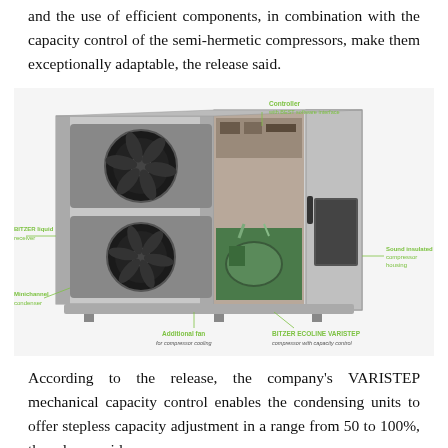and the use of efficient components, in combination with the capacity control of the semi-hermetic compressors, make them exceptionally adaptable, the release said.
[Figure (photo): Annotated product photo of a BITZER condensing unit showing two large black fans on the left side, internal components visible through open door on the right. Green annotation lines label: Controller with BEST software interface (top center), BITZER liquid receiver (left), Sound insulated compressor housing (right), Minichannel condenser (bottom left), Additional fan for compressor cooling (bottom center-left), BITZER ECOLINE VARISTEP compressor with capacity control (bottom center-right).]
According to the release, the company's VARISTEP mechanical capacity control enables the condensing units to offer stepless capacity adjustment in a range from 50 to 100%, the release said.